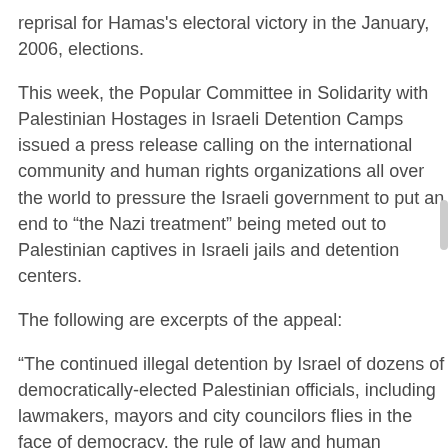reprisal for Hamas's electoral victory in the January, 2006, elections.
This week, the Popular Committee in Solidarity with Palestinian Hostages in Israeli Detention Camps issued a press release calling on the international community and human rights organizations all over the world to pressure the Israeli government to put an end to “the Nazi treatment” being meted out to Palestinian captives in Israeli jails and detention centers.
The following are excerpts of the appeal:
“The continued illegal detention by Israel of dozens of democratically-elected Palestinian officials, including lawmakers, mayors and city councilors flies in the face of democracy, the rule of law and human decency.
Nearly two years ago, and as a provocative act of political vendetta, the Israeli occupation army arrested nearly all Palestinian lawmakers who won the